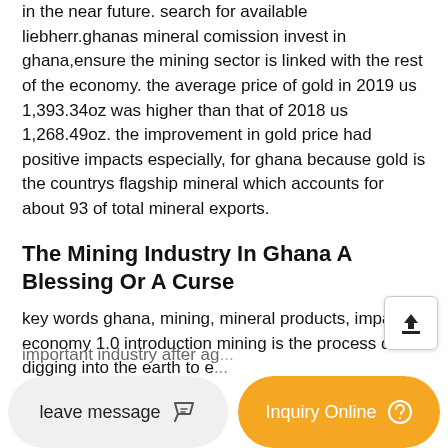in the near future. search for available liebherr.ghanas mineral comission invest in ghana,ensure the mining sector is linked with the rest of the economy. the average price of gold in 2019 us 1,393.34oz was higher than that of 2018 us 1,268.49oz. the improvement in gold price had positive impacts especially, for ghana because gold is the countrys flagship mineral which accounts for about 93 of total mineral exports.
The Mining Industry In Ghana A Blessing Or A Curse
key words ghana, mining, mineral products, impact, economy 1.0 introduction mining is the process of digging into the earth to e...
important industry after ag...